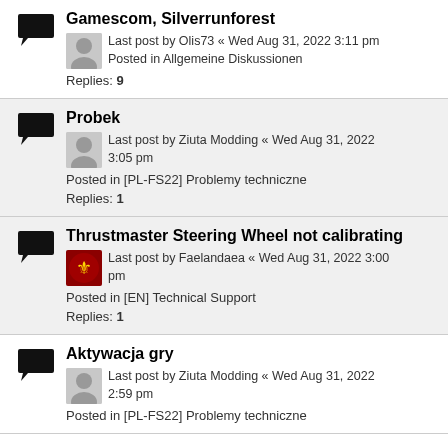Gamescom, Silverrunforest
Last post by Olis73 « Wed Aug 31, 2022 3:11 pm
Posted in Allgemeine Diskussionen
Replies: 9
Probek
Last post by Ziuta Modding « Wed Aug 31, 2022 3:05 pm
Posted in [PL-FS22] Problemy techniczne
Replies: 1
Thrustmaster Steering Wheel not calibrating
Last post by Faelandaea « Wed Aug 31, 2022 3:00 pm
Posted in [EN] Technical Support
Replies: 1
Aktywacja gry
Last post by Ziuta Modding « Wed Aug 31, 2022 2:59 pm
Posted in [PL-FS22] Problemy techniczne
Replies: ?